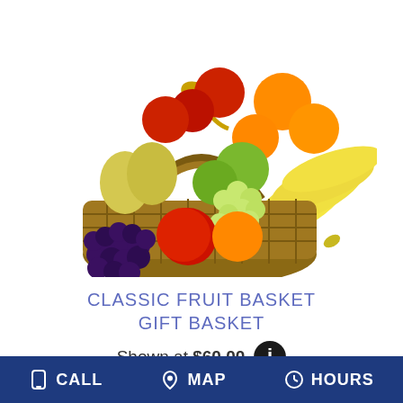[Figure (photo): A wicker basket filled with assorted fresh fruits including bananas, apples, oranges, grapes (green and purple), pears, and other fruits, topped with a gold ribbon bow.]
CLASSIC FRUIT BASKET GIFT BASKET
Shown at $60.00
BUY NOW
CALL  MAP  HOURS